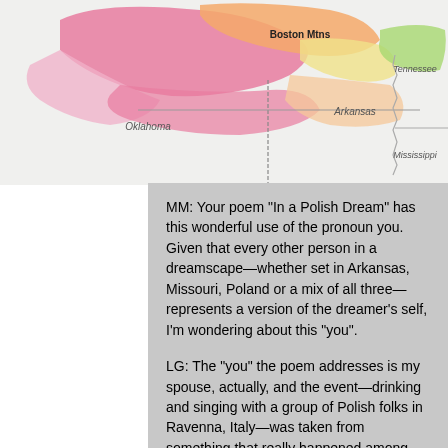[Figure (map): Partial map showing regions including Boston Mtns, Arkansas, Oklahoma, Tennessee, Mississippi with colored regional areas in pink, orange, yellow, green tones.]
MM: Your poem “In a Polish Dream” has this wonderful use of the pronoun you. Given that every other person in a dreamscape—whether set in Arkansas, Missouri, Poland or a mix of all three—represents a version of the dreamer’s self, I’m wondering about this “you”.
LG: The “you” the poem addresses is my spouse, actually, and the event—drinking and singing with a group of Polish folks in Ravenna, Italy—was taken from something that really happened among beautiful people,